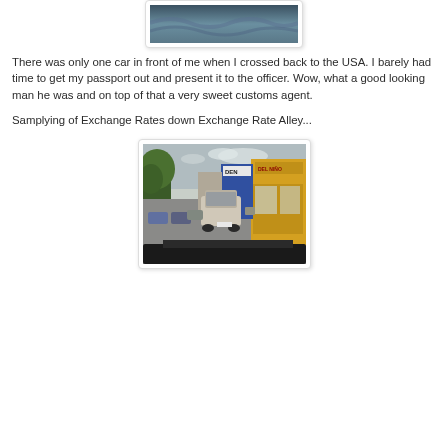[Figure (photo): Top portion of a photo showing a dark windshield/dashboard view, partially visible at top of page]
There was only one car in front of me when I crossed back to the USA.  I barely had time to get my passport out and present it to the officer.  Wow, what a good looking man he was and on top of that a very sweet customs agent.
Samplying of Exchange Rates down Exchange Rate Alley...
[Figure (photo): Street scene photograph taken from inside a car, showing a Mexican street with stores, signs including 'DEL NINO' pharmacy and other shops, an SUV/truck in front, parked cars, and trees on the left side. Yellow building on the right with shop fronts.]